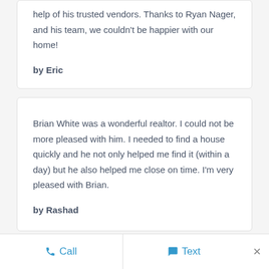help of his trusted vendors. Thanks to Ryan Nager, and his team, we couldn't be happier with our home!
by Eric
Brian White was a wonderful realtor. I could not be more pleased with him. I needed to find a house quickly and he not only helped me find it (within a day) but he also helped me close on time. I'm very pleased with Brian.
by Rashad
Call   Text   ×